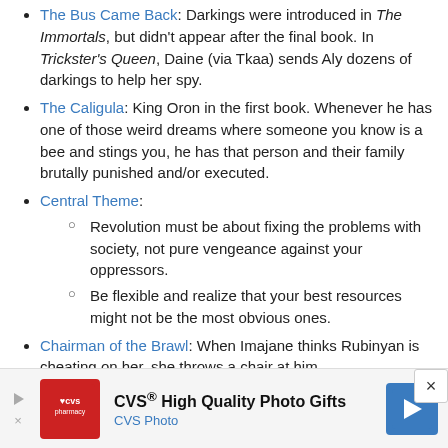The Bus Came Back: Darkings were introduced in The Immortals, but didn't appear after the final book. In Trickster's Queen, Daine (via Tkaa) sends Aly dozens of darkings to help her spy.
The Caligula: King Oron in the first book. Whenever he has one of those weird dreams where someone you know is a bee and stings you, he has that person and their family brutally punished and/or executed.
Central Theme:
Revolution must be about fixing the problems with society, not pure vengeance against your oppressors.
Be flexible and realize that your best resources might not be the most obvious ones.
Chairman of the Brawl: When Imajane thinks Rubinyan is cheating on her, she throws a chair at him.
[Figure (infographic): CVS advertisement banner: CVS High Quality Photo Gifts - CVS Photo]